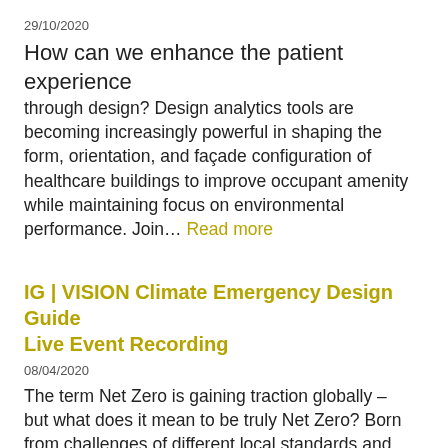29/10/2020
How can we enhance the patient experience through design? Design analytics tools are becoming increasingly powerful in shaping the form, orientation, and façade configuration of healthcare buildings to improve occupant amenity while maintaining focus on environmental performance. Join… Read more
IG | VISION Climate Emergency Design Guide Live Event Recording
08/04/2020
The term Net Zero is gaining traction globally – but what does it mean to be truly Net Zero? Born from challenges of different local standards and approaches to this question, Elementa Consulting initiated the London Energy Transformation Initiative (LETI) in 2017